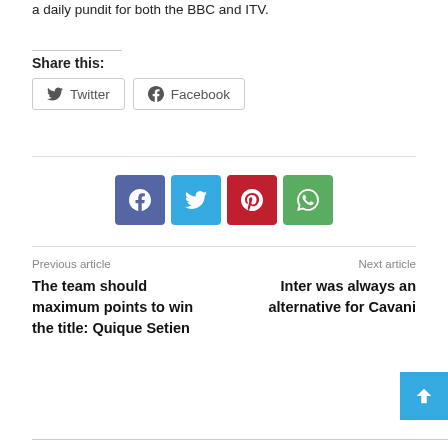a daily pundit for both the BBC and ITV.
Share this:
[Figure (other): Twitter and Facebook share buttons]
[Figure (other): Social media icon buttons: Facebook (blue), Twitter (light blue), Pinterest (red), WhatsApp (green)]
Previous article
The team should maximum points to win the title: Quique Setien
Next article
Inter was always an alternative for Cavani